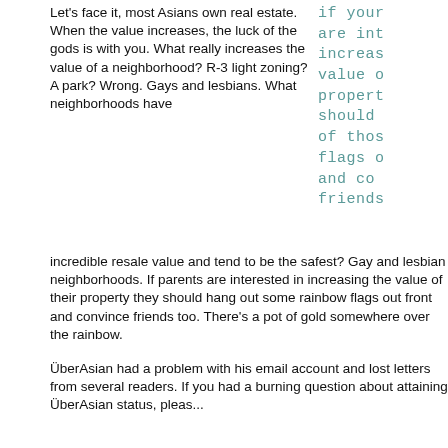Let's face it, most Asians own real estate. When the value increases, the luck of the gods is with you. What really increases the value of a neighborhood? R-3 light zoning? A park? Wrong. Gays and lesbians. What neighborhoods have incredible resale value and tend to be the safest? Gay and lesbian neighborhoods. If parents are interested in increasing the value of their property they should hang out some rainbow flags out front and convince friends too. There's a pot of gold somewhere over the rainbow.
ÜberAsian had a problem with his email account and lost letters from several readers. If you had a burning question about attaining ÜberAsian status, please...